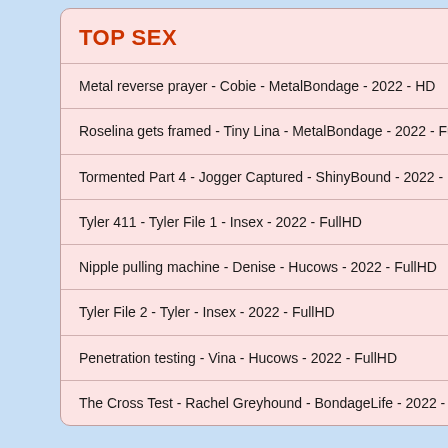TOP SEX
Metal reverse prayer - Cobie - MetalBondage - 2022 - HD
Roselina gets framed - Tiny Lina - MetalBondage - 2022 - FullHD
Tormented Part 4 - Jogger Captured - ShinyBound - 2022 - FullHD
Tyler 411 - Tyler File 1 - Insex - 2022 - FullHD
Nipple pulling machine - Denise - Hucows - 2022 - FullHD
Tyler File 2 - Tyler - Insex - 2022 - FullHD
Penetration testing - Vina - Hucows - 2022 - FullHD
The Cross Test - Rachel Greyhound - BondageLife - 2022 - HD